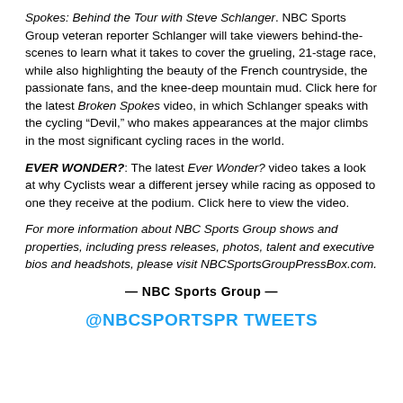Spokes: Behind the Tour with Steve Schlanger. NBC Sports Group veteran reporter Schlanger will take viewers behind-the-scenes to learn what it takes to cover the grueling, 21-stage race, while also highlighting the beauty of the French countryside, the passionate fans, and the knee-deep mountain mud. Click here for the latest Broken Spokes video, in which Schlanger speaks with the cycling “Devil,” who makes appearances at the major climbs in the most significant cycling races in the world.
EVER WONDER?: The latest Ever Wonder? video takes a look at why Cyclists wear a different jersey while racing as opposed to one they receive at the podium. Click here to view the video.
For more information about NBC Sports Group shows and properties, including press releases, photos, talent and executive bios and headshots, please visit NBCSportsGroupPressBox.com.
— NBC Sports Group —
@NBCSPORTSPR TWEETS